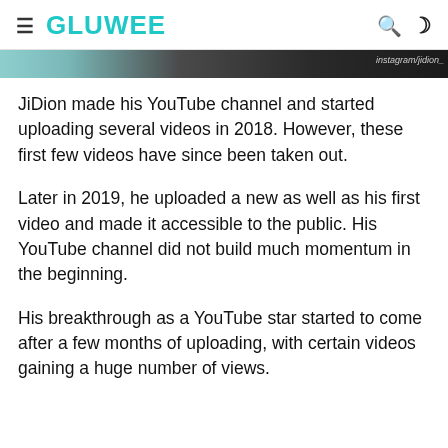GLUWEE
[Figure (photo): Partial image strip showing a person, partially cropped, with Instagram watermark text visible on the right side]
JiDion made his YouTube channel and started uploading several videos in 2018. However, these first few videos have since been taken out.
Later in 2019, he uploaded a new as well as his first video and made it accessible to the public. His YouTube channel did not build much momentum in the beginning.
His breakthrough as a YouTube star started to come after a few months of uploading, with certain videos gaining a huge number of views.